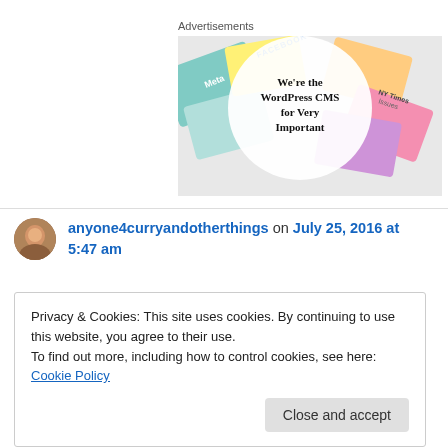Advertisements
[Figure (illustration): Advertisement banner showing colorful overlapping cards with logos including Meta, FACEBOOK, NY Times issues, with a white circle overlay containing the text: We're the WordPress CMS for Very Important]
anyone4curryandotherthings on July 25, 2016 at 5:47 am
Privacy & Cookies: This site uses cookies. By continuing to use this website, you agree to their use.
To find out more, including how to control cookies, see here: Cookie Policy
Close and accept